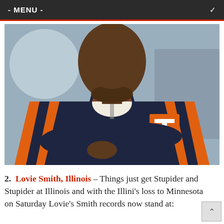- MENU -
[Figure (photo): A man wearing a navy blue and orange Illinois Fighting Illini jacket with arms crossed, looking serious. The Illinois 'I' logo is visible on the chest.]
2.  Lovie Smith, Illinois – Things just get Stupider and Stupider at Illinois and with the Illini's loss to Minnesota on Saturday Lovie's Smith records now stand at: